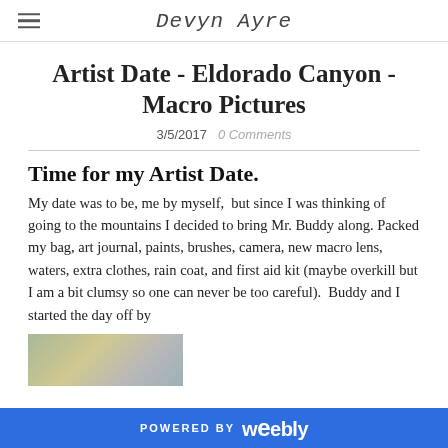Devyn Ayre
Artist Date - Eldorado Canyon - Macro Pictures
3/5/2017   0 Comments
Time for my Artist Date.
My date was to be, me by myself,  but since I was thinking of going to the mountains I decided to bring Mr. Buddy along.  Packed my bag, art journal, paints, brushes, camera, new macro lens, waters, extra clothes, rain coat, and first aid kit (maybe overkill but I am a bit clumsy so one can never be too careful).  Buddy and I started the day off by
[Figure (photo): Partial outdoor/nature photo at bottom left, cropped.]
POWERED BY weebly